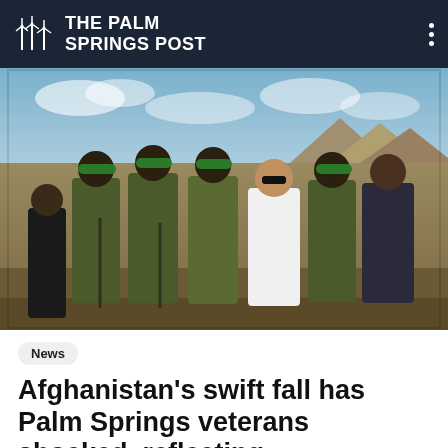THE PALM SPRINGS POST
[Figure (photo): Group photo of seven people standing outdoors in an arid landscape with mountains and cloudy sky in the background. Five men are wearing camouflage military uniforms with green berets, one man in the front left wears dark clothing, one man in the center wears a white shirt and dark sunglasses, and one man on the right wears a dark jacket and jeans.]
News
Afghanistan's swift fall has Palm Springs veterans shocked, reflecting